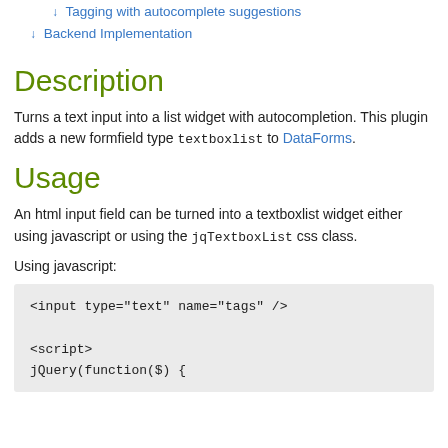↓ Tagging with autocomplete suggestions
↓ Backend Implementation
Description
Turns a text input into a list widget with autocompletion. This plugin adds a new formfield type textboxlist to DataForms.
Usage
An html input field can be turned into a textboxlist widget either using javascript or using the jqTextboxList css class.
Using javascript:
<input type="text" name="tags" />

<script>
jQuery(function($) {